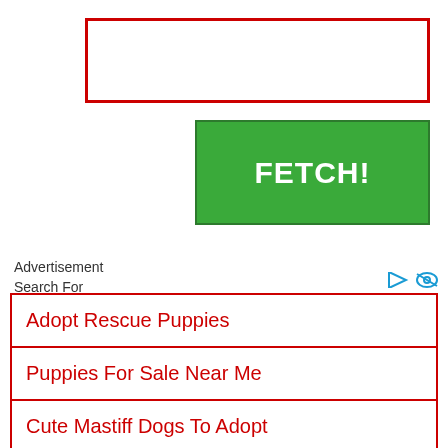[Figure (screenshot): Search input box with red border]
[Figure (screenshot): Green FETCH! button]
Advertisement
Search For
Adopt Rescue Puppies
Puppies For Sale Near Me
Cute Mastiff Dogs To Adopt
Dog Puppies For Sale